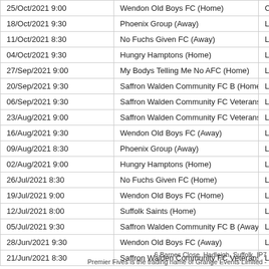| Date/Time | Opponent | Type |
| --- | --- | --- |
| 25/Oct/2021 9:00 | Wendon Old Boys FC (Home) | Cup |
| 18/Oct/2021 9:30 | Phoenix Group (Away) | Leag |
| 11/Oct/2021 8:30 | No Fuchs Given FC (Away) | Leag |
| 04/Oct/2021 9:30 | Hungry Hamptons (Home) | Leag |
| 27/Sep/2021 9:00 | My Bodys Telling Me No AFC (Home) | Leag |
| 20/Sep/2021 9:30 | Saffron Walden Community FC B (Home) | Leag |
| 06/Sep/2021 9:30 | Saffron Walden Community FC Veterans (Home) | Leag |
| 23/Aug/2021 9:00 | Saffron Walden Community FC Veterans (Home) | Leag |
| 16/Aug/2021 9:30 | Wendon Old Boys FC (Away) | Leag |
| 09/Aug/2021 8:30 | Phoenix Group (Away) | Leag |
| 02/Aug/2021 9:00 | Hungry Hamptons (Home) | Leag |
| 26/Jul/2021 8:30 | No Fuchs Given FC (Home) | Leag |
| 19/Jul/2021 9:00 | Wendon Old Boys FC (Home) | Leag |
| 12/Jul/2021 8:00 | Suffolk Saints (Home) | Leag |
| 05/Jul/2021 9:30 | Saffron Walden Community FC B (Away) | Leag |
| 28/Jun/2021 9:30 | Wendon Old Boys FC (Away) | Leag |
| 21/Jun/2021 8:30 | Saffron Walden Community FC Veterans (Home) | Leag |
6 Barnes Close, Hadleigh, Suffolk, IP7
Premier Fives is the trading name of Grange Events Limited -